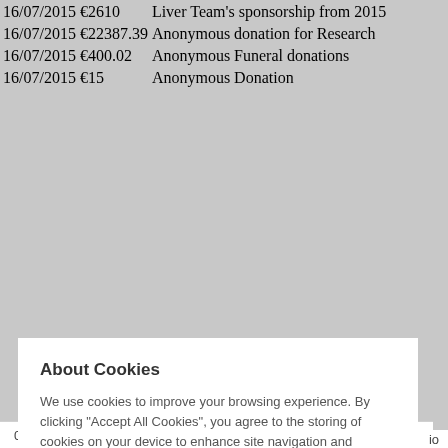| Date | Amount | Description |
| --- | --- | --- |
| 16/07/2015 | €2610 | Liver Team's sponsorship from 2015 |
| 16/07/2015 | €22387.39 | Anonymous donation for Research |
| 16/07/2015 | €400.02 | Anonymous Funeral donations |
| 16/07/2015 | €15 | Anonymous Donation |
About Cookies
We use cookies to improve your browsing experience. By clicking "Accept All Cookies", you agree to the storing of cookies on your device to enhance site navigation and analyse site usage. You can modify your cookie preferences by clicking on cookie settings within our Cookie Policy
Accept All Cookies
Cookies Settings